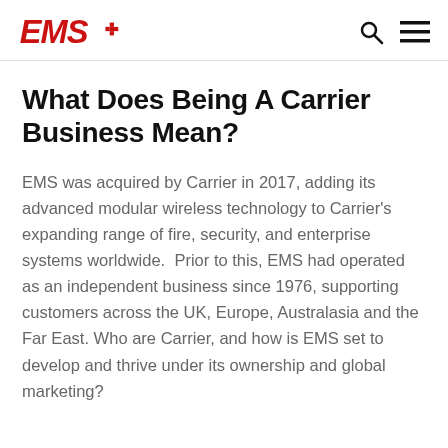EMS [logo] [search icon] [menu icon]
What Does Being A Carrier Business Mean?
EMS was acquired by Carrier in 2017, adding its advanced modular wireless technology to Carrier's expanding range of fire, security, and enterprise systems worldwide.  Prior to this, EMS had operated as an independent business since 1976, supporting customers across the UK, Europe, Australasia and the Far East. Who are Carrier, and how is EMS set to develop and thrive under its ownership and global marketing?